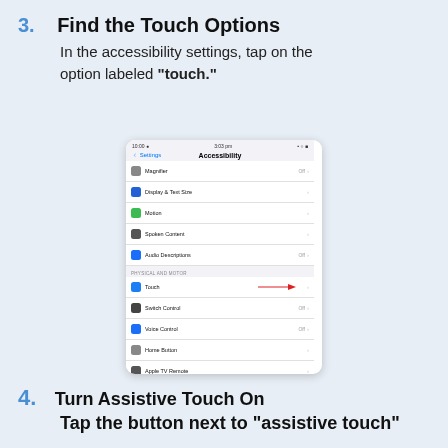3. Find the Touch Options
In the accessibility settings, tap on the option labeled "touch."
[Figure (screenshot): iPhone Accessibility settings screen showing various options including Touch highlighted with a red arrow. Options include Magnifier, Display & Text Size, Motion, Spoken Content, Audio Descriptions, Touch (highlighted), Switch Control, Voice Control, Home Button, Apple TV Remote, Keyboards, Hearing Devices, Sound Recognition.]
4. Turn Assistive Touch On
Tap the button next to "assistive touch"